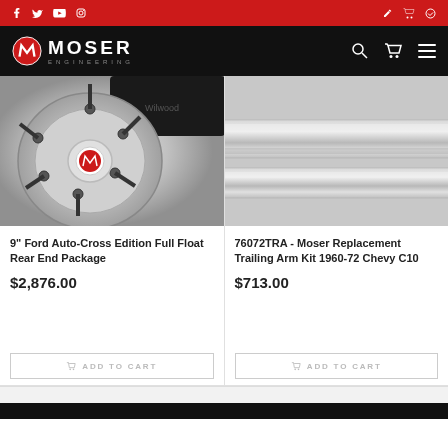Moser Engineering - social icons and navigation bar
[Figure (photo): Chrome hub assembly with wheel studs and Moser Engineering logo center cap, with Wilwood brake caliper visible in background]
[Figure (photo): Close-up of gray metal trailing arm tube/rod on light background]
9" Ford Auto-Cross Edition Full Float Rear End Package
$2,876.00
ADD TO CART
76072TRA - Moser Replacement Trailing Arm Kit 1960-72 Chevy C10
$713.00
ADD TO CART